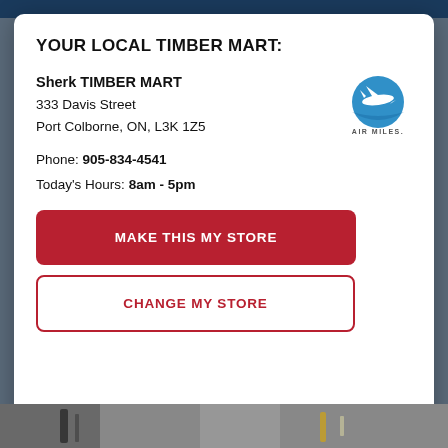YOUR LOCAL TIMBER MART:
Sherk TIMBER MART
333 Davis Street
Port Colborne, ON, L3K 1Z5
[Figure (logo): Air Miles logo - blue circle with white airplane/canoe figure, 'AIR MILES.' text below]
Phone: 905-834-4541
Today's Hours: 8am - 5pm
MAKE THIS MY STORE
CHANGE MY STORE